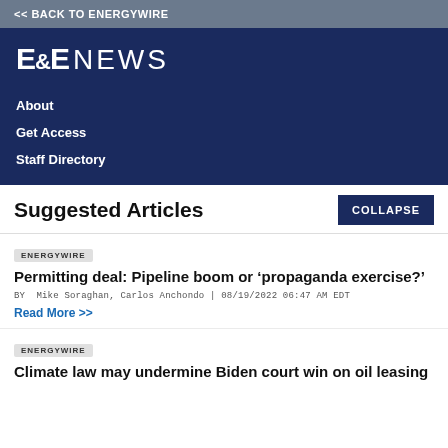<< BACK TO ENERGYWIRE
[Figure (logo): E&E NEWS logo in white on dark navy background]
About
Get Access
Staff Directory
Suggested Articles
ENERGYWIRE
Permitting deal: Pipeline boom or ‘propaganda exercise?’
BY Mike Soraghan, Carlos Anchondo | 08/19/2022 06:47 AM EDT
Read More >>
ENERGYWIRE
Climate law may undermine Biden court win on oil leasing